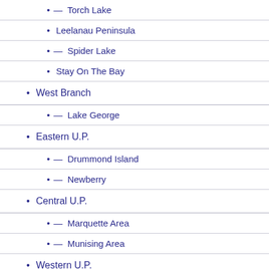— Torch Lake
Leelanau Peninsula
— Spider Lake
Stay On The Bay
West Branch
— Lake George
Eastern U.P.
— Drummond Island
— Newberry
Central U.P.
— Marquette Area
— Munising Area
Western U.P.
— Cisco Chain of Lakes